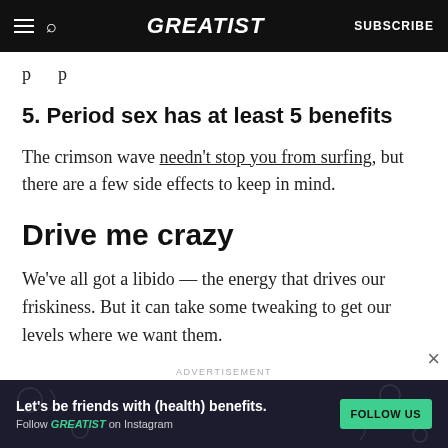GREATIST | SUBSCRIBE
p…p
5. Period sex has at least 5 benefits
The crimson wave needn't stop you from surfing, but there are a few side effects to keep in mind.
Drive me crazy
We've all got a libido — the energy that drives our friskiness. But it can take some tweaking to get our levels where we want them.
[Figure (screenshot): Advertisement banner: Let's be friends with (health) benefits. Follow GREATIST on Instagram. FOLLOW US button.]